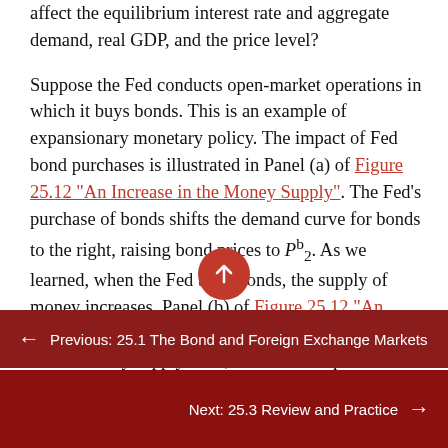affect the equilibrium interest rate and aggregate demand, real GDP, and the price level?
Suppose the Fed conducts open-market operations in which it buys bonds. This is an example of expansionary monetary policy. The impact of Fed bond purchases is illustrated in Panel (a) of Figure 25.12 "An Increase in the Money Supply". The Fed's purchase of bonds shifts the demand curve for bonds to the right, raising bond prices to P^b_2. As we learned, when the Fed buys bonds, the supply of money increases. Panel (b) of Figure 25.12 "An Increase in the Money Supply" shows an economy with a money supply of M, which is in equilibrium at an interest rate of r_1. Now suppose the bond purchases by the Fed...
← Previous: 25.1 The Bond and Foreign Exchange Markets
Next: 25.3 Review and Practice →